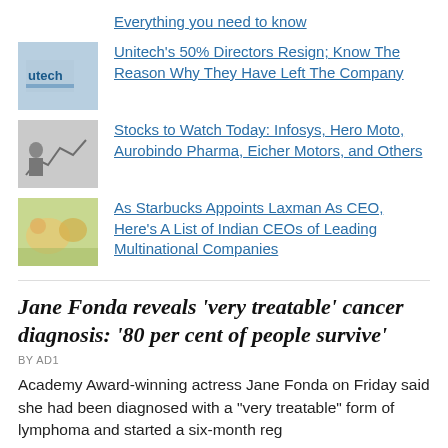Everything you need to know
[Figure (photo): Unitech logo thumbnail]
Unitech’s 50% Directors Resign; Know The Reason Why They Have Left The Company
[Figure (photo): Stocks chart thumbnail]
Stocks to Watch Today: Infosys, Hero Moto, Aurobindo Pharma, Eicher Motors, and Others
[Figure (photo): Starbucks/food thumbnail]
As Starbucks Appoints Laxman As CEO, Here’s A List of Indian CEOs of Leading Multinational Companies
Jane Fonda reveals ‘very treatable’ cancer diagnosis: ‘80 per cent of people survive’
BY AD1
Academy Award-winning actress Jane Fonda on Friday said she had been diagnosed with a “very treatable” form of lymphoma and started a six-month reg